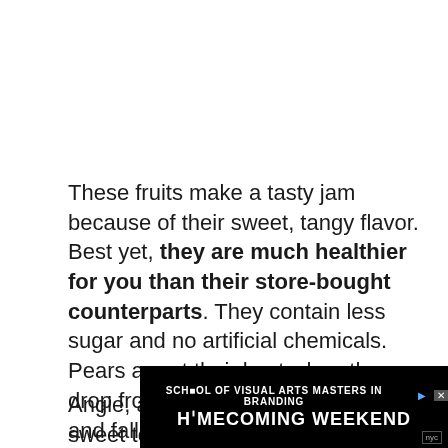These fruits make a tasty jam because of their sweet, tangy flavor. Best yet, they are much healthier for you than their store-bought counterparts. They contain less sugar and no artificial chemicals. Pears are at their best when they drop from the trees in late summer and fall, and are a tasty addition to any breakfast (or lunch, or dinner!) table.
Angie, at Home Grown, was so sweet to poi... ...mile ba...
[Figure (other): Advertisement banner: SCHOOL OF VISUAL ARTS MASTERS IN BRANDING - HOMECOMING WEEKEND]